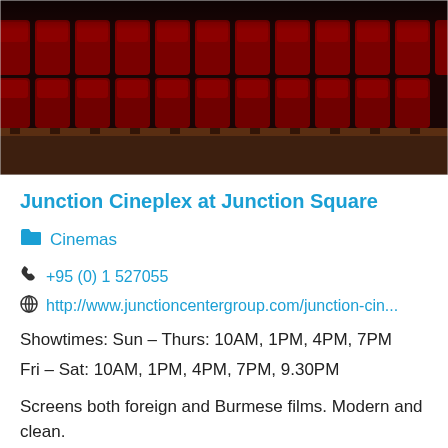[Figure (photo): Interior photo of a cinema/theater showing rows of red seats viewed from the front, with dark wooden flooring and dim lighting]
Junction Cineplex at Junction Square
Cinemas
+95 (0) 1 527055
http://www.junctioncentergroup.com/junction-cin...
Showtimes: Sun – Thurs: 10AM, 1PM, 4PM, 7PM
Fri – Sat: 10AM, 1PM, 4PM, 7PM, 9.30PM
Screens both foreign and Burmese films. Modern and clean.
Pyay Rd, Junction Square shopping mall
+95 (0) 1 527055